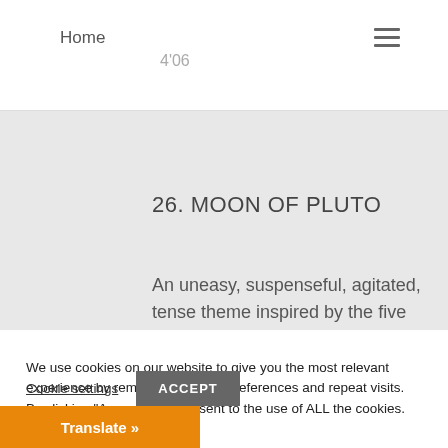Home
4'06
26. MOON OF PLUTO
An uneasy, suspenseful, agitated, tense theme inspired by the five moon of Pluto, a dwarf planet in the Kuiper Belt of the
We use cookies on our website to give you the most relevant experience by remembering your preferences and repeat visits. By clicking "Accept", you consent to the use of ALL the cookies.
Cookie settings
ACCEPT
Translate »